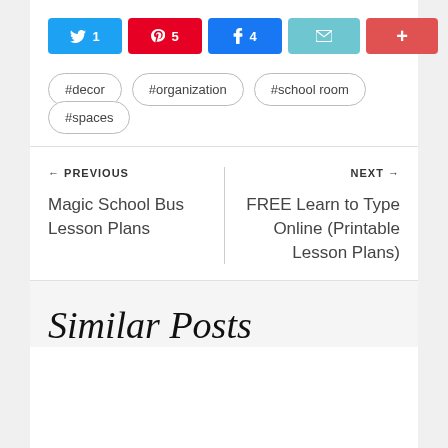[Figure (infographic): Social share buttons: Twitter (1), Pinterest (5), Facebook (4), Email, More (+), with 244 SHARES count]
#decor
#organization
#school room
#spaces
← PREVIOUS
Magic School Bus Lesson Plans
NEXT →
FREE Learn to Type Online (Printable Lesson Plans)
Similar Posts